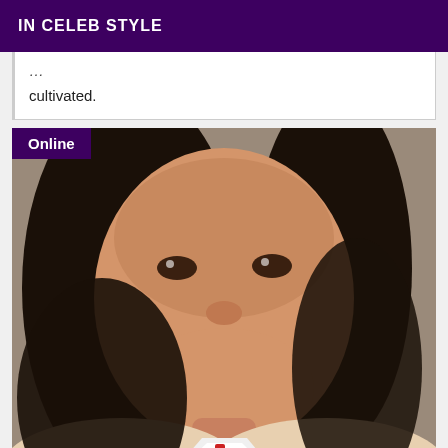IN CELEB STYLE
cultivated.
[Figure (photo): Close-up selfie photo of a young woman with long dark hair, smiling, wearing a white halter top or costume with a red cross symbol visible at the bottom, with an 'Online' badge overlaid in the top-left corner.]